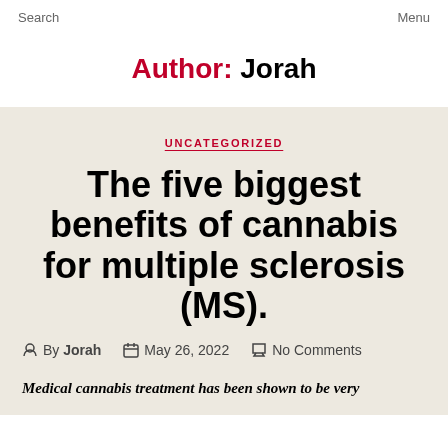Search    Menu
Author: Jorah
UNCATEGORIZED
The five biggest benefits of cannabis for multiple sclerosis (MS).
By Jorah   May 26, 2022   No Comments
Medical cannabis treatment has been shown to be very